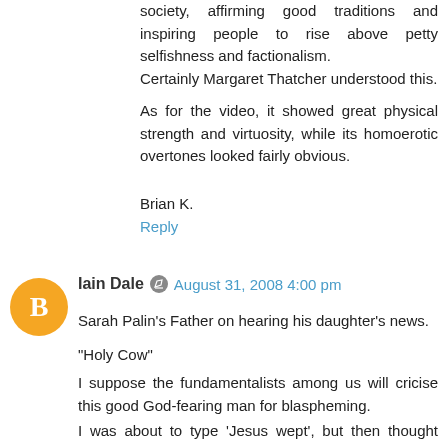society, affirming good traditions and inspiring people to rise above petty selfishness and factionalism.
Certainly Margaret Thatcher understood this.
As for the video, it showed great physical strength and virtuosity, while its homoerotic overtones looked fairly obvious.
Brian K.
Reply
Iain Dale  August 31, 2008 4:00 pm
Sarah Palin's Father on hearing his daughter's news.
"Holy Cow"
I suppose the fundamentalists among us will cricise this good God-fearing man for blaspheming.
I was about to type 'Jesus wept', but then thought better of it.